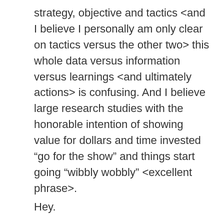strategy, objective and tactics <and I believe I personally am only clear on tactics versus the other two> this whole data versus information versus learnings <and ultimately actions> is confusing. And I believe large research studies with the honorable intention of showing value for dollars and time invested “go for the show” and things start going “wibbly wobbly” <excellent phrase>.
Hey.